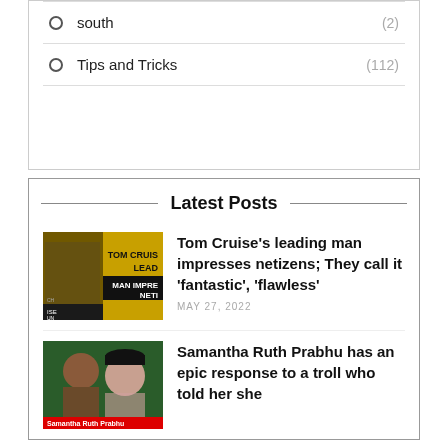south (2)
Tips and Tricks (112)
Latest Posts
[Figure (photo): Tom Cruise movie thumbnail with yellow background and text TOM CRUIS LEAD MAN IMPRE NETI]
Tom Cruise’s leading man impresses netizens; They call it ‘fantastic’, ‘flawless’
MAY 27, 2022
[Figure (photo): Samantha Ruth Prabhu photo with green background and red label at bottom]
Samantha Ruth Prabhu has an epic response to a troll who told her she